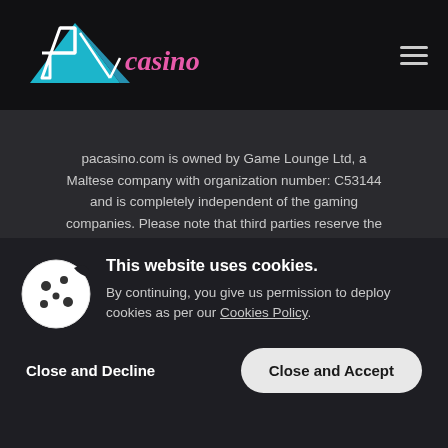[Figure (logo): PA Casino logo with blue triangle shape and pink/white cursive text on black header background]
pacasino.com is owned by Game Lounge Ltd, a Maltese company with organization number: C53144 and is completely independent of the gaming companies. Please note that third parties reserve the right to change or remove bonuses / promotions at short notice. pacasino.com can therefore not be held responsible for any incorrect information. Always read the terms and conditions of the bonus at each casino carefully before playing.we only link to casinos licensed by US State Gambling Control Boards
[Figure (other): Partially visible social media icons at bottom of page]
This website uses cookies.
By continuing, you give us permission to deploy cookies as per our Cookies Policy.
Close and Decline
Close and Accept